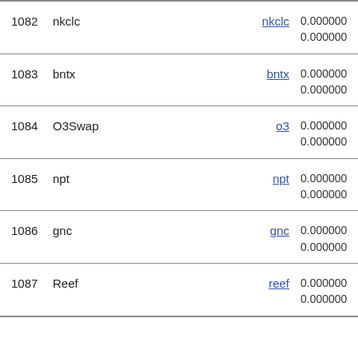| # | Name | Symbol | Values |
| --- | --- | --- | --- |
| 1082 | nkclc | nkclc | 0.000000
0.000000 |
| 1083 | bntx | bntx | 0.000000
0.000000 |
| 1084 | O3Swap | o3 | 0.000000
0.000000 |
| 1085 | npt | npt | 0.000000
0.000000 |
| 1086 | gnc | gnc | 0.000000
0.000000 |
| 1087 | Reef | reef | 0.000000
0.000000 |